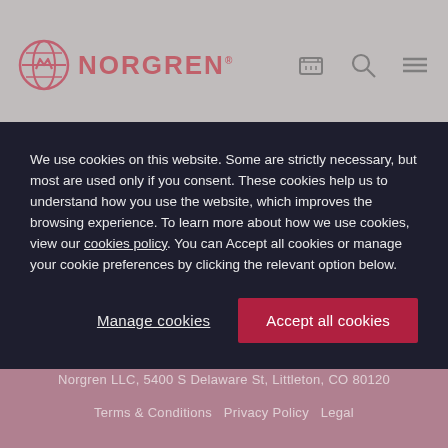[Figure (logo): Norgren logo with globe icon and NORGREN wordmark in red/pink on gray header background with cart, search, and menu icons]
We use cookies on this website. Some are strictly necessary, but most are used only if you consent. These cookies help us to understand how you use the website, which improves the browsing experience. To learn more about how we use cookies, view our cookies policy. You can Accept all cookies or manage your cookie preferences by clicking the relevant option below.
Manage cookies
Accept all cookies
Norgren LLC, 5400 S Delaware St, Littleton, CO 80120
Terms & Conditions   Privacy Policy   Legal